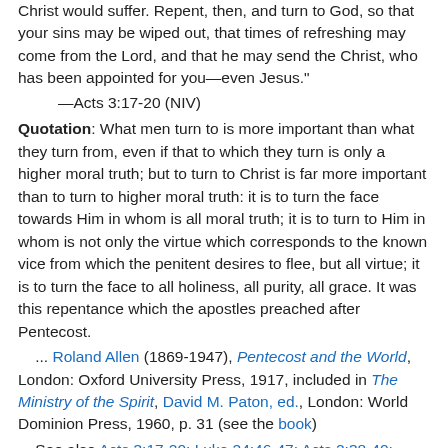Christ would suffer. Repent, then, and turn to God, so that your sins may be wiped out, that times of refreshing may come from the Lord, and that he may send the Christ, who has been appointed for you—even Jesus."
    —Acts 3:17-20 (NIV)
Quotation: What men turn to is more important than what they turn from, even if that to which they turn is only a higher moral truth; but to turn to Christ is far more important than to turn to higher moral truth: it is to turn the face towards Him in whom is all moral truth; it is to turn to Him in whom is not only the virtue which corresponds to the known vice from which the penitent desires to flee, but all virtue; it is to turn the face to all holiness, all purity, all grace. It was this repentance which the apostles preached after Pentecost.
... Roland Allen (1869-1947), Pentecost and the World, London: Oxford University Press, 1917, included in The Ministry of the Spirit, David M. Paton, ed., London: World Dominion Press, 1960, p. 31 (see the book)
See also Acts 3:17-20; Luke 24:46-47; Acts 2:38-40; 17:30; 20:21; 26:20; Rom. 6:3; 1 Cor. 1:13-17
Quiet time reflection:
Lord, grant that, in turning away from my sin, I may...